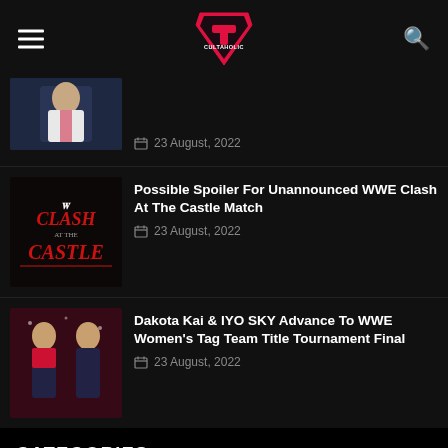Cultaholic
[Figure (photo): Partial thumbnail of a wrestler in a white jacket]
23 August, 2022
[Figure (photo): WWE Clash at the Castle logo on dark background]
Possible Spoiler For Unannounced WWE Clash At The Castle Match
23 August, 2022
[Figure (photo): Dakota Kai and IYO SKY at WWE event]
Dakota Kai & IYO SKY Advance To WWE Women's Tag Team Title Tournament Final
23 August, 2022
CATEGORIES